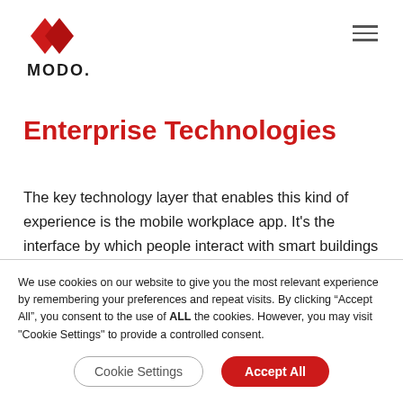MODO
Enterprise Technologies
The key technology layer that enables this kind of experience is the mobile workplace app. It’s the interface by which people interact with smart buildings and other enterprise technologies and tools.
We use cookies on our website to give you the most relevant experience by remembering your preferences and repeat visits. By clicking “Accept All”, you consent to the use of ALL the cookies. However, you may visit “Cookie Settings” to provide a controlled consent.